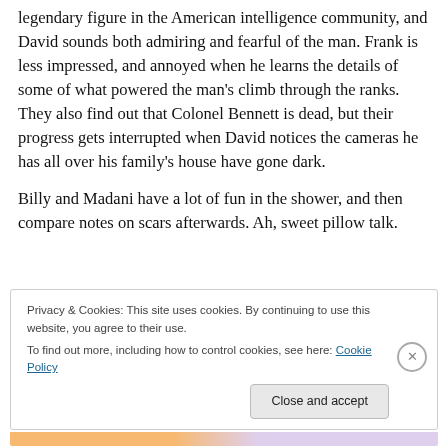legendary figure in the American intelligence community, and David sounds both admiring and fearful of the man. Frank is less impressed, and annoyed when he learns the details of some of what powered the man's climb through the ranks. They also find out that Colonel Bennett is dead, but their progress gets interrupted when David notices the cameras he has all over his family's house have gone dark.
Billy and Madani have a lot of fun in the shower, and then compare notes on scars afterwards. Ah, sweet pillow talk.
Privacy & Cookies: This site uses cookies. By continuing to use this website, you agree to their use.
To find out more, including how to control cookies, see here: Cookie Policy
Close and accept